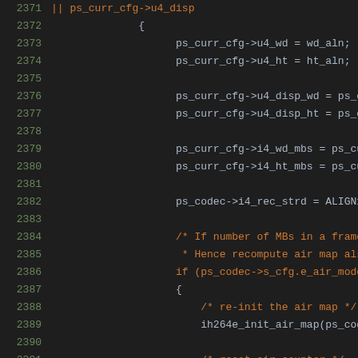[Figure (screenshot): Source code editor screenshot showing C code lines 2371-2392 with dark theme. Code includes assignments to ps_curr_cfg struct members (u4_wd, u4_ht, u4_disp_wd, u4_disp_ht, i4_wd_mbs, i4_ht_mbs), ps_codec->i4_rec_strd assignment, and a conditional block checking ps_codec->s_cfg.e_air_mode with comments about MBs in a frame and air map reinitialization.]